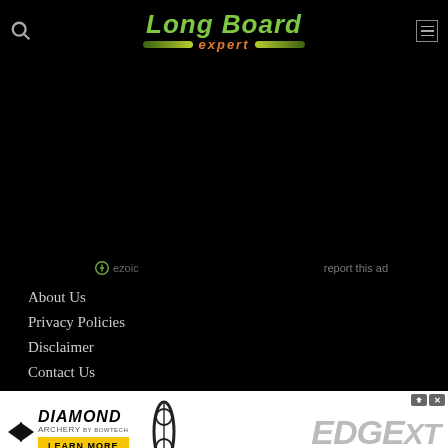Long Board expert
[Figure (other): Dark advertisement area placeholder]
ezoic   report this ad
About Us
Privacy Policies
Disclaimer
Contact Us
[Figure (other): Diamond Archery Edge XT advertisement banner]